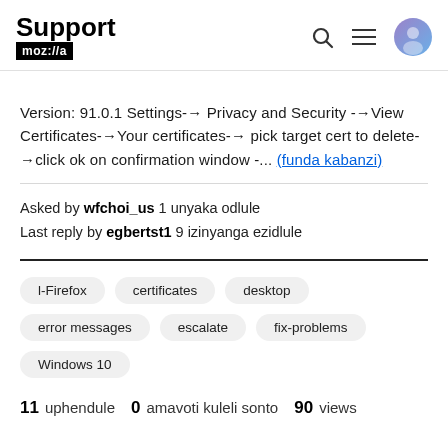Support mozilla//a
Version: 91.0.1 Settings-→ Privacy and Security -→View Certificates-→Your certificates-→ pick target cert to delete-→click ok on confirmation window -... (funda kabanzi)
Asked by wfchoi_us 1 unyaka odlule
Last reply by egbertst1 9 izinyanga ezidlule
l-Firefox
certificates
desktop
error messages
escalate
fix-problems
Windows 10
11 uphendule   0 amavoti kuleli sonto   90 views